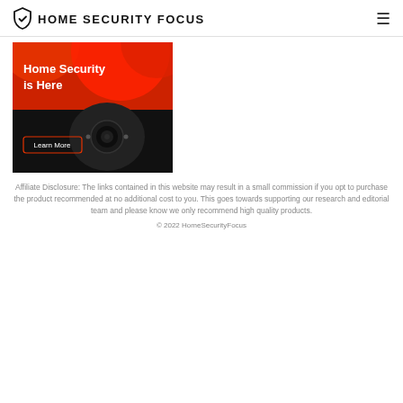HOME SECURITY FOCUS
[Figure (photo): Home security camera advertisement banner with red and black background. Text reads 'Home Security is Here' with a 'Learn More' button. Shows a security camera device.]
Affiliate Disclosure: The links contained in this website may result in a small commission if you opt to purchase the product recommended at no additional cost to you. This goes towards supporting our research and editorial team and please know we only recommend high quality products.
© 2022 HomeSecurityFocus